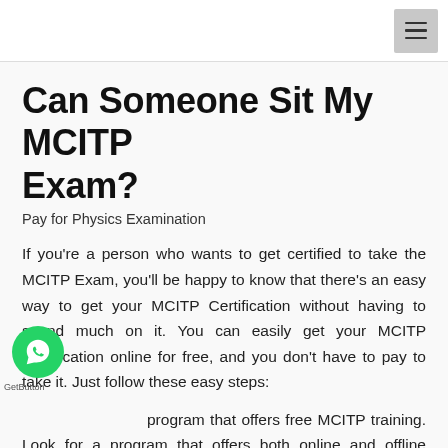Can Someone Sit My MCITP Exam?
Pay for Physics Examination
If you're a person who wants to get certified to take the MCITP Exam, you'll be happy to know that there's an easy way to get your MCITP Certification without having to spend much on it. You can easily get your MCITP Certification online for free, and you don't have to pay to take it. Just follow these easy steps:
program that offers free MCITP training. Look for a program that offers both online and offline training. It might be a good idea to learn MCITP online because you can study anytime